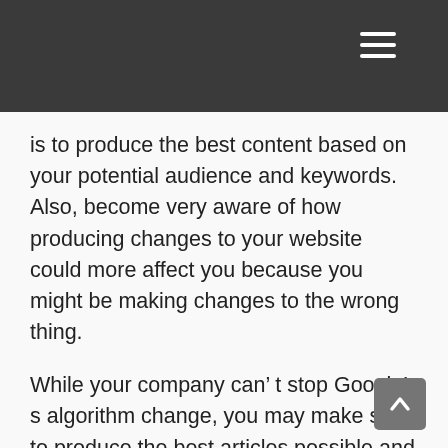is to produce the best content based on your potential audience and keywords. Also, become very aware of how producing changes to your website could more affect you because you might be making changes to the wrong thing.
While your company can’ t stop Google’ s algorithm change, you may make sure to produce the best articles possible and market this effectively. If you’ re ready to take your blog happy to the next level, reach out to our dedicated team to learn more about how we can help.
The particular post Methods to Survive A Drop Within Organic Searches Because Of Google’ s Algorithm Change? appeared first on Rock Content material .